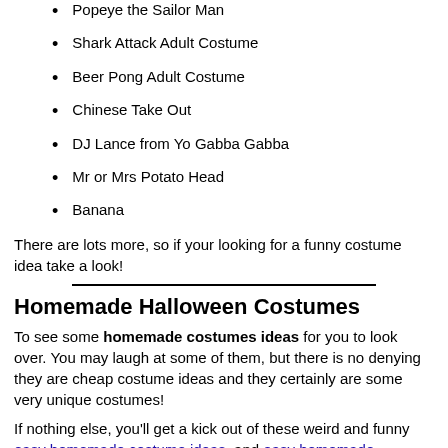Popeye the Sailor Man
Shark Attack Adult Costume
Beer Pong Adult Costume
Chinese Take Out
DJ Lance from Yo Gabba Gabba
Mr or Mrs Potato Head
Banana
There are lots more, so if your looking for a funny costume idea take a look!
Homemade Halloween Costumes
To see some homemade costumes ideas for you to look over. You may laugh at some of them, but there is no denying they are cheap costume ideas and they certainly are some very unique costumes!
If nothing else, you'll get a kick out of these weird and funny easy homemade costume ideas. and easy homemade costume ideas...Page 2
Skull Punch Bowl